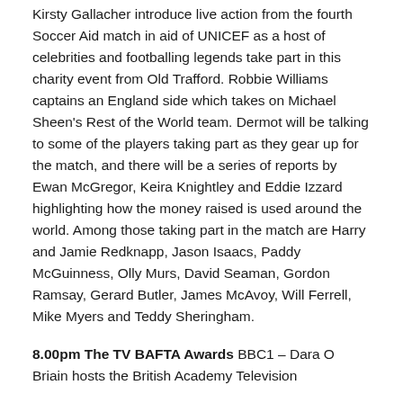Kirsty Gallacher introduce live action from the fourth Soccer Aid match in aid of UNICEF as a host of celebrities and footballing legends take part in this charity event from Old Trafford. Robbie Williams captains an England side which takes on Michael Sheen's Rest of the World team. Dermot will be talking to some of the players taking part as they gear up for the match, and there will be a series of reports by Ewan McGregor, Keira Knightley and Eddie Izzard highlighting how the money raised is used around the world. Among those taking part in the match are Harry and Jamie Redknapp, Jason Isaacs, Paddy McGuinness, Olly Murs, David Seaman, Gordon Ramsay, Gerard Butler, James McAvoy, Will Ferrell, Mike Myers and Teddy Sheringham.
8.00pm The TV BAFTA Awards BBC1 – Dara O Briain hosts the British Academy Television